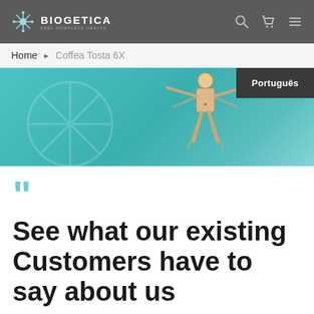BIOGETICA
Home ▶ Coffea Tosta 6X
[Figure (illustration): Biogetica website banner with a teal/green gradient background featuring the Vitruvian Man illustration and a decorative snowflake/geometric pattern. A dark dropdown showing 'Português' appears in the top right corner of the banner.]
See what our existing Customers have to say about us